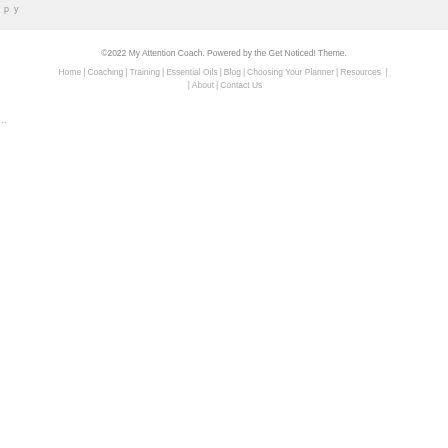p y
©2022 My Attention Coach. Powered by the Get Noticed! Theme.
Home | Coaching | Training | Essential Oils | Blog | Choosing Your Planner | Resources | About | Contact Us
↔